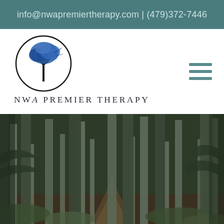info@nwapremiertherapy.com | (479)372-7446
[Figure (logo): NWA Premier Therapy logo: a tree with blue foliage inside a circle]
NWA PREMIER THERAPY
[Figure (photo): A forest scene with tall pine/fir trees and a path through the woods, dense green foliage]